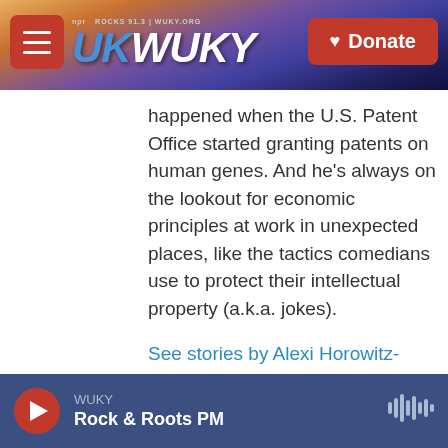NPR ROCKS 91.3 | WUKY.ORG — WUKY logo — Donate button
happened when the U.S. Patent Office started granting patents on human genes. And he's always on the lookout for economic principles at work in unexpected places, like the tactics comedians use to protect their intellectual property (a.k.a. jokes).
See stories by Alexi Horowitz-Ghazi
WUKY — Rock & Roots PM